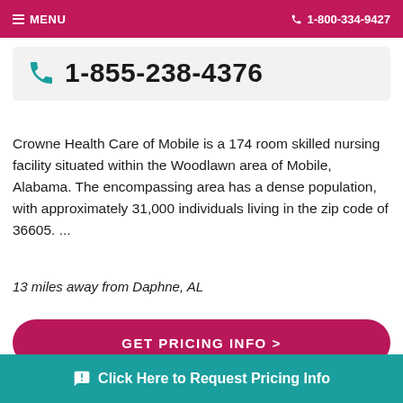MENU   1-800-334-9427
1-855-238-4376
Crowne Health Care of Mobile is a 174 room skilled nursing facility situated within the Woodlawn area of Mobile, Alabama. The encompassing area has a dense population, with approximately 31,000 individuals living in the zip code of 36605. ...
13 miles away from Daphne, AL
GET PRICING INFO >
SEE DETAILS >
Click Here to Request Pricing Info